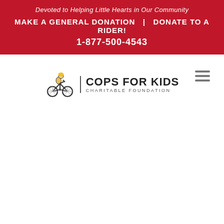Devoted to Helping Little Hearts in Our Community
MAKE A GENERAL DONATION   |   DONATE TO A RIDER!
1-877-500-4543
[Figure (logo): Cops for Kids Charitable Foundation logo with a child on a bicycle icon and bold text]
[Figure (other): Hamburger menu icon (three horizontal lines)]